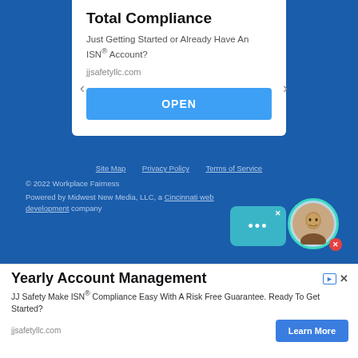Total Compliance
Just Getting Started or Already Have An ISN® Account?
jjsafetyllc.com
OPEN
Site Map   Privacy Policy   Terms of Service
© 2022 Workplace Fairness
Powered by Midwest New Media, LLC, a Cincinnati web development company
[Figure (photo): Chat widget with teal speech bubble showing ellipsis and a circular avatar photo of a smiling woman with a red close button]
Yearly Account Management
JJ Safety Make ISN® Compliance Easy With A Risk Free Guarantee. Ready To Get Started?
jjsafetyllc.com
Learn More